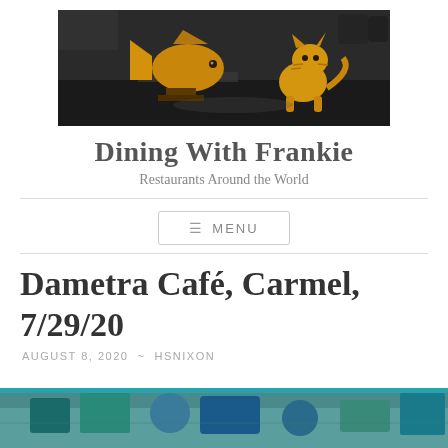[Figure (photo): Photo of two amber/golden animal figurines (fish and cat) on a dark surface, used as blog header image]
Dining With Frankie
Restaurants Around the World
≡ MENU
Dametra Café, Carmel, 7/29/20
AUGUST 8, 2020 ~ HSNIXON
[Figure (photo): Partial photo at bottom of page showing colorful restaurant or café scene with teal/turquoise elements]